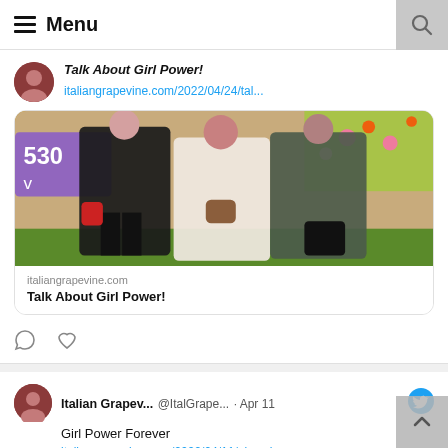≡ Menu
Talk About Girl Power!
italiangrapevine.com/2022/04/24/tal...
[Figure (photo): Three women standing together outdoors in front of a floral garden display with purple letters visible in the background.]
italiangrapevine.com
Talk About Girl Power!
Italian Grapev... @ItalGrape... · Apr 11
Girl Power Forever
italiangrapevine.com/2022/04/11/gir... via